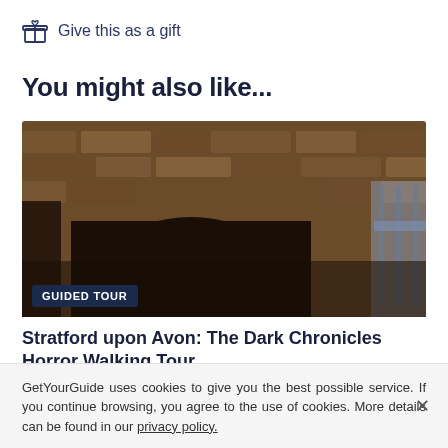Give this as a gift
You might also like...
[Figure (photo): Stone building interior/exterior with brick walls, a wooden chair visible on the right, dark moody lighting. Badge overlay reads GUIDED TOUR.]
Stratford upon Avon: The Dark Chronicles Horror Walking Tour
1.5 hours
GetYourGuide uses cookies to give you the best possible service. If you continue browsing, you agree to the use of cookies. More details can be found in our privacy policy.